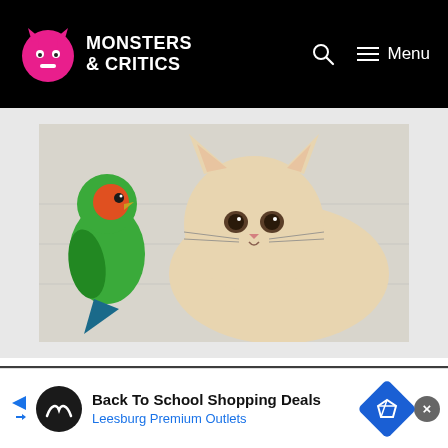Monsters & Critics — Menu
[Figure (photo): A cream/white cat lying down facing the camera with a green and orange lovebird/parrot perched to the left, both on a white surface with faint text in the background.]
© Copyright 2003 - 2022 Monsters and Critics · All rights reserved. All logos & trademarks belong to their respective owners. All content cited is derived from their respective sources.
[Figure (other): Advertisement banner: Back To School Shopping Deals — Leesburg Premium Outlets, with a circular dark logo and a blue diamond-shaped icon.]